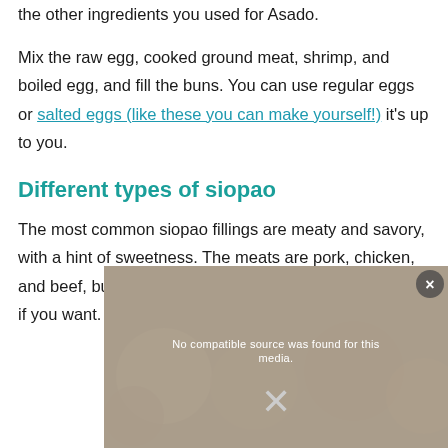the other ingredients you used for Asado.
Mix the raw egg, cooked ground meat, shrimp, and boiled egg, and fill the buns. You can use regular eggs or salted eggs (like these you can make yourself!) it's up to you.
Different types of siopao
The most common siopao fillings are meaty and savory, with a hint of sweetness. The meats are pork, chicken, and beef, but you can experiment with turkey and lamb if you want.
[Figure (other): Video overlay with 'No compatible source was found for this' message and an X close button, overlaid on a food/siopao background image]